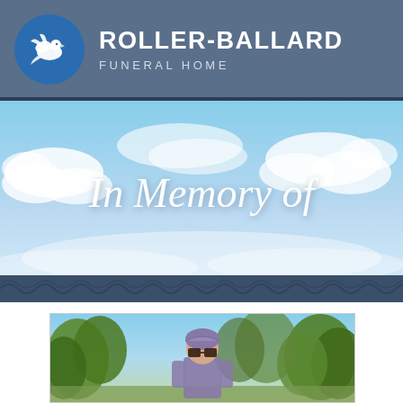Roller-Ballard Funeral Home
[Figure (illustration): Roller-Ballard Funeral Home logo: white dove silhouette on a blue circle]
Roller-Ballard Funeral Home
[Figure (photo): Sky banner with blue sky and white clouds, script text reading 'In Memory of' with ornamental swirl beneath]
[Figure (photo): Portrait photo of a person outdoors wearing glasses and a purple bandana, with green trees in background]